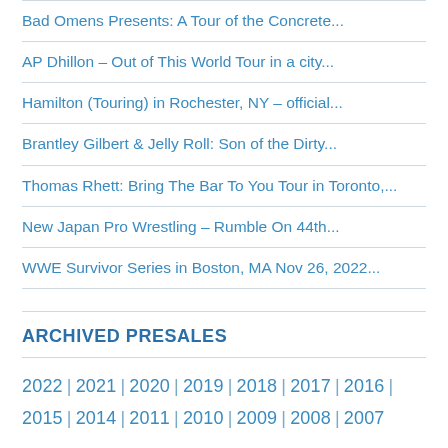Bad Omens Presents: A Tour of the Concrete...
AP Dhillon – Out of This World Tour in a city...
Hamilton (Touring) in Rochester, NY – official...
Brantley Gilbert & Jelly Roll: Son of the Dirty...
Thomas Rhett: Bring The Bar To You Tour in Toronto,...
New Japan Pro Wrestling – Rumble On 44th...
WWE Survivor Series in Boston, MA Nov 26, 2022...
ARCHIVED PRESALES
2022 | 2021 | 2020 | 2019 | 2018 | 2017 | 2016 | 2015 | 2014 | 2011 | 2010 | 2009 | 2008 | 2007